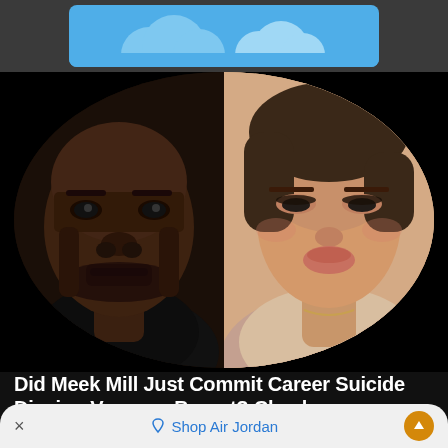[Figure (photo): Advertisement banner with blue background and cloud graphic at top of screen]
[Figure (photo): Split oval thumbnail image showing two faces: a Black man on the left (Meek Mill) and a woman with light skin on the right (Vanessa Bryant), set against a black background]
Did Meek Mill Just Commit Career Suicide Dissing Vanessa Bryant? Check...
Meek Mill's response to Vanessa Bryant complaining about his Kobe Bryant line, may be career suicide. Shortly...
[Figure (photo): Small thumbnail image of Klay Thompson and Glen Big Baby Davis]
Klay Thompson Responds to Glen Big Baby Davis "I see Why He Stay Hurt"...
Shop Air Jordan